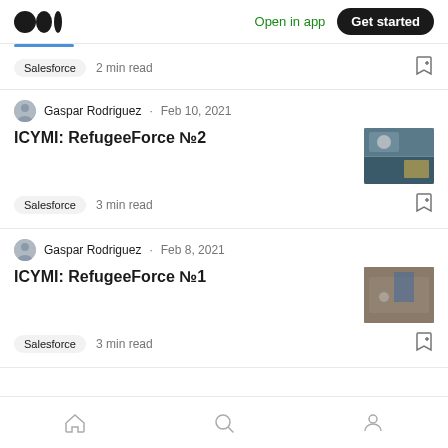Medium logo | Open in app | Get started
Salesforce · 2 min read
Gaspar Rodriguez · Feb 10, 2021
ICYMI: RefugeeForce №2
Salesforce · 3 min read
Gaspar Rodriguez · Feb 8, 2021
ICYMI: RefugeeForce №1
Salesforce · 3 min read
Home | Search | Profile